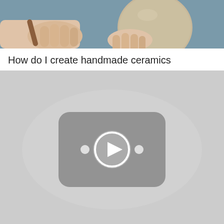[Figure (photo): Close-up photo of hands working with clay, shaping a ceramic pot. One hand holds a tool against the clay surface.]
How do I create handmade ceramics
[Figure (screenshot): A gray video thumbnail placeholder showing a YouTube-style play button icon in the center, indicating an embedded video about handmade ceramics.]